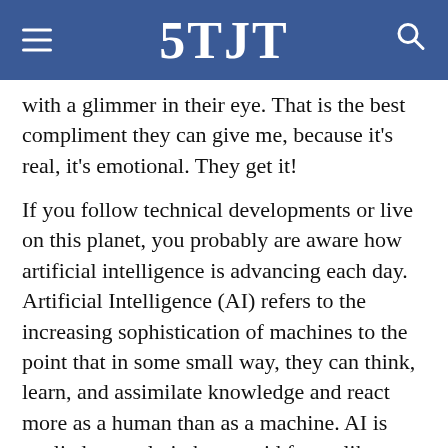5TJT
with a glimmer in their eye. That is the best compliment they can give me, because it’s real, it’s emotional. They get it!
If you follow technical developments or live on this planet, you probably are aware how artificial intelligence is advancing each day. Artificial Intelligence (AI) refers to the increasing sophistication of machines to the point that in some small way, they can think, learn, and assimilate knowledge and react more as a human than as a machine. AI is applied not only in humanoid forms like robots with arms, legs, a body, and a head, but the technology is increasingly